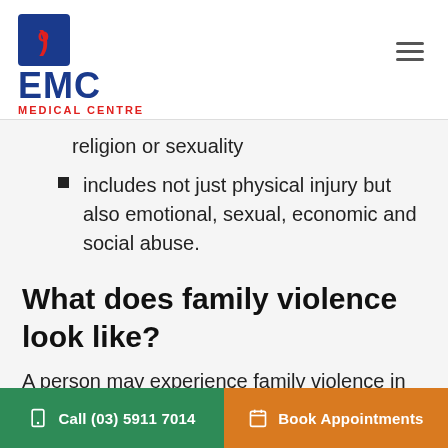EMC Medical Centre
religion or sexuality
includes not just physical injury but also emotional, sexual, economic and social abuse.
What does family violence look like?
A person may experience family violence in many forms, such as being:
threatened with harm to them or to their children,
Call (03) 5911 7014   Book Appointments